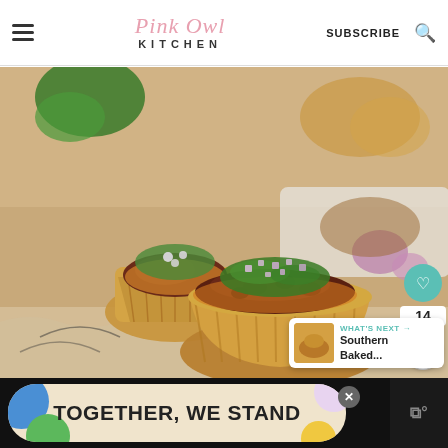Pink Owl Kitchen | SUBSCRIBE
[Figure (photo): Close-up photo of chili cheese cups made with puff pastry shells filled with chili, shredded cheese, diced red onions and fresh cilantro, served on a decorative plate with blurred background showing cilantro leaves and shallots]
WHAT'S NEXT → Southern Baked...
TOGETHER, WE STAND